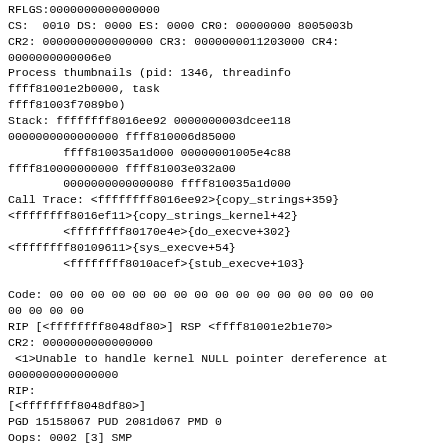RFLGS:0000000000000000
CS:  0010 DS: 0000 ES: 0000 CR0: 00000000 8005003b
CR2: 0000000000000000 CR3: 0000000011203000 CR4:
0000000000006e0
Process thumbnails (pid: 1346, threadinfo
ffff81001e2b0000, task
ffff81003f7089b0)
Stack: ffffffff8016ee92 00000003dcee118
0000000000000000 ffff810006d85000
        ffff810035a1d000 00000001005e4c88
ffff810000000000 ffff81003e032a00
        0000000000000080 ffff810035a1d000
Call Trace: <ffffffff8016ee92>{copy_strings+359}
<ffffffff8016ef11>{copy_strings_kernel+42}
        <ffffffff80170e4e>{do_execve+302}
<ffffffff80109611>{sys_execve+54}
        <ffffffff8010acef>{stub_execve+103}

Code: 00 00 00 00 00 00 00 00 00 00 00 00 00 00 00 00
00 00 00 00
RIP [<ffffffff8048df80>] RSP <ffff81001e2b1e70>
CR2: 0000000000000000
 <1>Unable to handle kernel NULL pointer dereference at
0000000000000000
RIP:
[<ffffffff8048df80>]
PGD 15158067 PUD 2081d067 PMD 0
Oops: 0002 [3] SMP
CPU 0
Modules linked in: lirc_serial lirc_dev saa7134_alsa